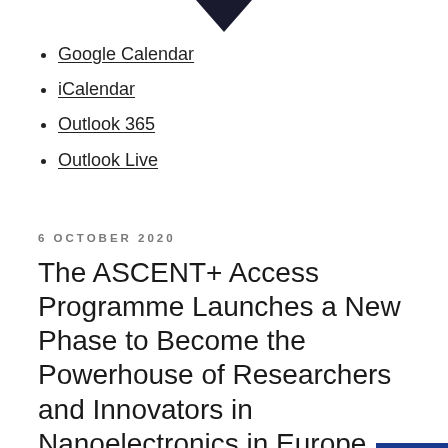[Figure (illustration): Dark downward-pointing arrow/chevron at the top of the page]
Google Calendar
iCalendar
Outlook 365
Outlook Live
6 OCTOBER 2020
The ASCENT+ Access Programme Launches a New Phase to Become the Powerhouse of Researchers and Innovators in Nanoelectronics in Europe